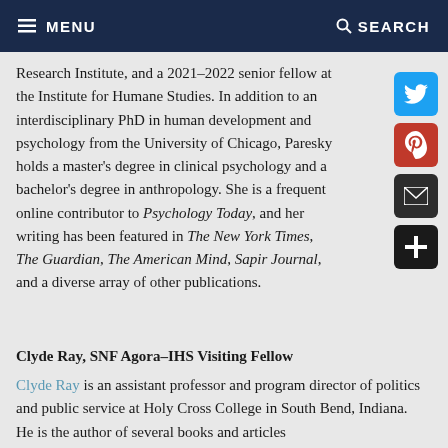MENU | SEARCH
Research Institute, and a 2021–2022 senior fellow at the Institute for Humane Studies. In addition to an interdisciplinary PhD in human development and psychology from the University of Chicago, Paresky holds a master's degree in clinical psychology and a bachelor's degree in anthropology. She is a frequent online contributor to Psychology Today, and her writing has been featured in The New York Times, The Guardian, The American Mind, Sapir Journal, and a diverse array of other publications.
Clyde Ray, SNF Agora–IHS Visiting Fellow
Clyde Ray is an assistant professor and program director of politics and public service at Holy Cross College in South Bend, Indiana. He is the author of several books and articles